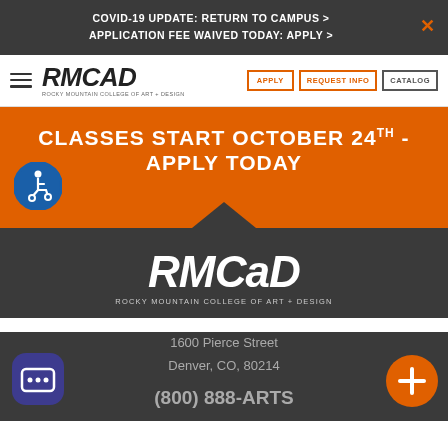COVID-19 UPDATE: RETURN TO CAMPUS > APPLICATION FEE WAIVED TODAY: APPLY >
[Figure (logo): RMCAD Rocky Mountain College of Art + Design logo with hamburger menu, APPLY, REQUEST INFO, and CATALOG buttons]
CLASSES START OCTOBER 24 - APPLY TODAY
[Figure (illustration): Accessibility icon - person in wheelchair in blue circle]
[Figure (logo): RMCAD Rocky Mountain College of Art + Design large white logo on dark background]
1600 Pierce Street
Denver, CO, 80214
(800) 888-ARTS
[Figure (illustration): Chat message bubble icon on dark blue/purple rounded square background]
[Figure (illustration): Orange circle with plus sign button]